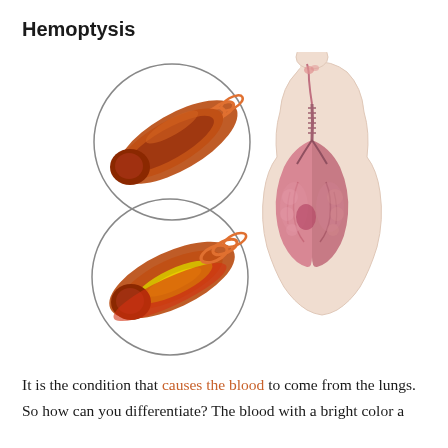Hemoptysis
[Figure (illustration): Medical illustration showing two close-up views of bronchial tubes (one normal, one inflamed/diseased) in circular insets on the left, and a full human torso transparent body diagram on the right showing the respiratory system including nasal cavity, throat, and lungs highlighted in pink.]
It is the condition that causes the blood to come from the lungs. So how can you differentiate? The blood with a bright color a